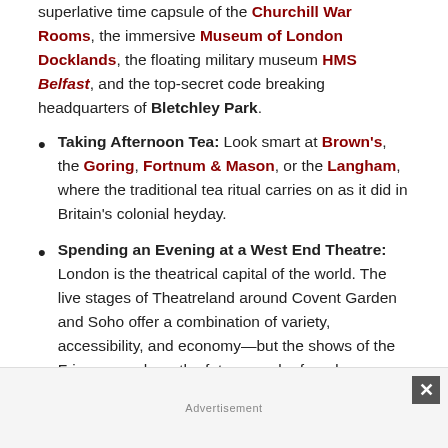superlative time capsule of the Churchill War Rooms, the immersive Museum of London Docklands, the floating military museum HMS Belfast, and the top-secret code breaking headquarters of Bletchley Park.
Taking Afternoon Tea: Look smart at Brown's, the Goring, Fortnum & Mason, or the Langham, where the traditional tea ritual carries on as it did in Britain's colonial heyday.
Spending an Evening at a West End Theatre: London is the theatrical capital of the world. The live stages of Theatreland around Covent Garden and Soho offer a combination of variety, accessibility, and economy—but the shows of the Fringe are where the future can be found.
Advertisement